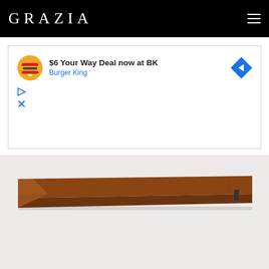GRAZIA
[Figure (infographic): Burger King advertisement banner: '$6 Your Way Deal now at BK' with Burger King logo and arrow icon, plus play and close controls]
[Figure (photo): Close-up photo of a walnut wood floating wall shelf with angular bracket design, mounted on a white wall]